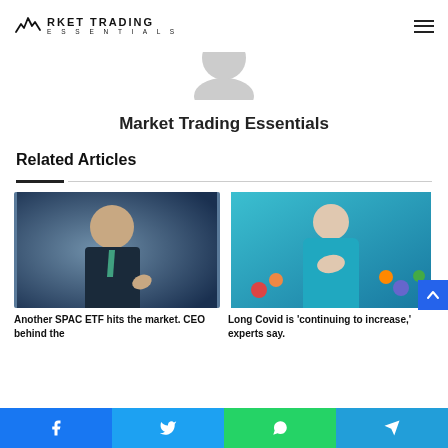Market Trading Essentials
Market Trading Essentials
Related Articles
[Figure (photo): Man in business suit with teal tie gesturing and speaking, background with blue lights]
Another SPAC ETF hits the market. CEO behind the
[Figure (photo): Person in cyan/teal long-sleeve shirt with hand on chest, seated near colorful climbing wall balls]
Long Covid is 'continuing to increase,' experts say.
Facebook Twitter WhatsApp Telegram